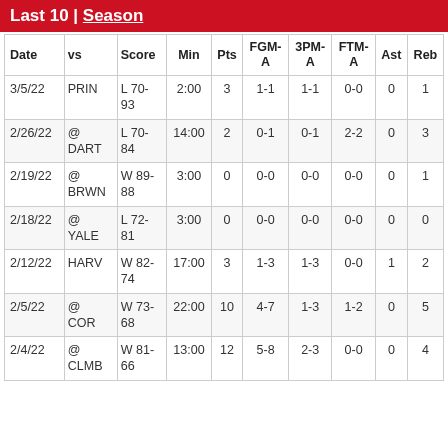Last 10 | Season
| Date | vs | Score | Min | Pts | FGM-A | 3PM-A | FTM-A | Ast | Reb |
| --- | --- | --- | --- | --- | --- | --- | --- | --- | --- |
| 3/5/22 | PRIN | L 70-93 | 2:00 | 3 | 1-1 | 1-1 | 0-0 | 0 | 1 |
| 2/26/22 | @ DART | L 70-84 | 14:00 | 2 | 0-1 | 0-1 | 2-2 | 0 | 3 |
| 2/19/22 | @ BRWN | W 89-88 | 3:00 | 0 | 0-0 | 0-0 | 0-0 | 0 | 1 |
| 2/18/22 | @ YALE | L 72-81 | 3:00 | 0 | 0-0 | 0-0 | 0-0 | 0 | 0 |
| 2/12/22 | HARV | W 82-74 | 17:00 | 3 | 1-3 | 1-3 | 0-0 | 1 | 2 |
| 2/5/22 | @ COR | W 73-68 | 22:00 | 10 | 4-7 | 1-3 | 1-2 | 0 | 5 |
| 2/4/22 | @ CLMB | W 81-66 | 13:00 | 12 | 5-8 | 2-3 | 0-0 | 0 | 4 |